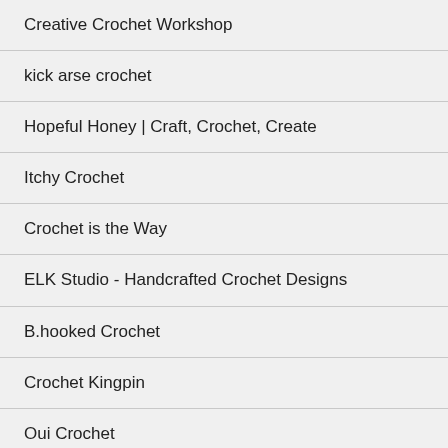Creative Crochet Workshop
kick arse crochet
Hopeful Honey | Craft, Crochet, Create
Itchy Crochet
Crochet is the Way
ELK Studio - Handcrafted Crochet Designs
B.hooked Crochet
Crochet Kingpin
Oui Crochet
LillaBjörn's Crochet World